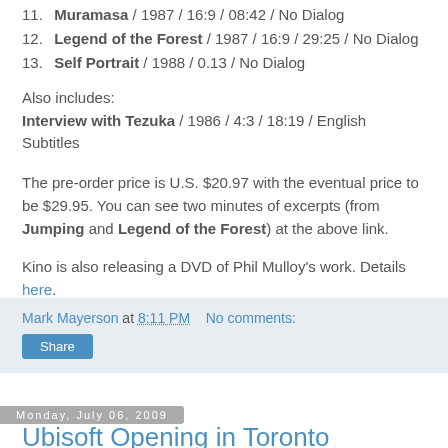11. Muramasa / 1987 / 16:9 / 08:42 / No Dialog
12. Legend of the Forest / 1987 / 16:9 / 29:25 / No Dialog
13. Self Portrait / 1988 / 0.13 / No Dialog
Also includes:
Interview with Tezuka / 1986 / 4:3 / 18:19 / English Subtitles
The pre-order price is U.S. $20.97 with the eventual price to be $29.95. You can see two minutes of excerpts (from Jumping and Legend of the Forest) at the above link.
Kino is also releasing a DVD of Phil Mulloy's work. Details here.
Mark Mayerson at 8:11 PM   No comments:
Share
Monday, July 06, 2009
Ubisoft Opening in Toronto